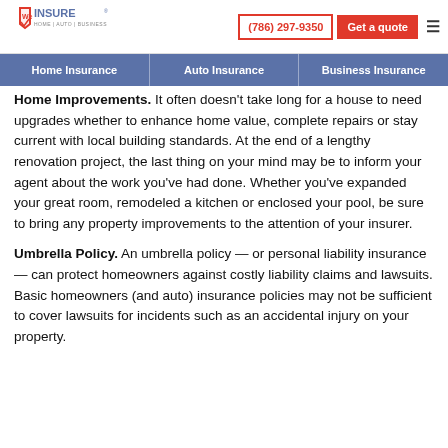We Insure | Home | Auto | Business | (786) 297-9350 | Get a quote
Home Insurance | Auto Insurance | Business Insurance
Home Improvements. It often doesn't take long for a house to need upgrades whether to enhance home value, complete repairs or stay current with local building standards. At the end of a lengthy renovation project, the last thing on your mind may be to inform your agent about the work you've had done. Whether you've expanded your great room, remodeled a kitchen or enclosed your pool, be sure to bring any property improvements to the attention of your insurer.
Umbrella Policy. An umbrella policy — or personal liability insurance — can protect homeowners against costly liability claims and lawsuits. Basic homeowners (and auto) insurance policies may not be sufficient to cover lawsuits for incidents such as an accidental injury on your property.